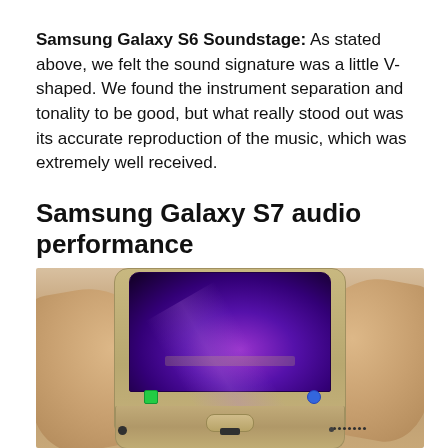Samsung Galaxy S6 Soundstage: As stated above, we felt the sound signature was a little V-shaped. We found the instrument separation and tonality to be good, but what really stood out was its accurate reproduction of the music, which was extremely well received.
Samsung Galaxy S7 audio performance
[Figure (photo): Person's hands holding a Samsung Galaxy S7 smartphone, showing the bottom edge of the phone with headphone jack, USB port, and speaker grille visible. The phone screen displays a purple/violet lock screen. The background is blurred showing skin tones.]